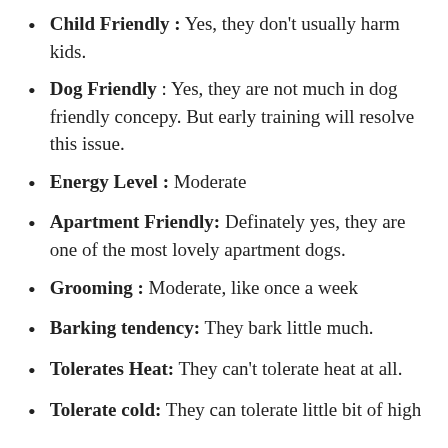Child Friendly : Yes, they don't usually harm kids.
Dog Friendly : Yes, they are not much in dog friendly concepy. But early training will resolve this issue.
Energy Level : Moderate
Apartment Friendly: Definately yes, they are one of the most lovely apartment dogs.
Grooming : Moderate, like once a week
Barking tendency: They bark little much.
Tolerates Heat: They can't tolerate heat at all.
Tolerate cold: They can tolerate little bit of high